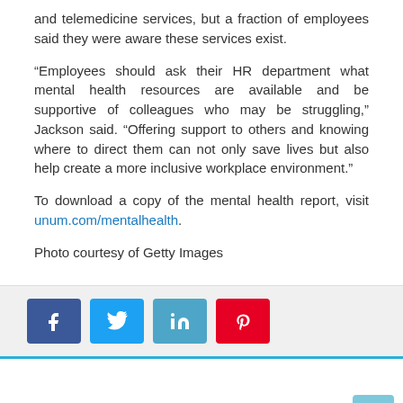and telemedicine services, but a fraction of employees said they were aware these services exist.
“Employees should ask their HR department what mental health resources are available and be supportive of colleagues who may be struggling,” Jackson said. “Offering support to others and knowing where to direct them can not only save lives but also help create a more inclusive workplace environment.”
To download a copy of the mental health report, visit unum.com/mentalhealth.
Photo courtesy of Getty Images
[Figure (infographic): Social media share buttons: Facebook (blue), Twitter (light blue), LinkedIn (cyan), Pinterest (red)]
ABOUT WF STAFF